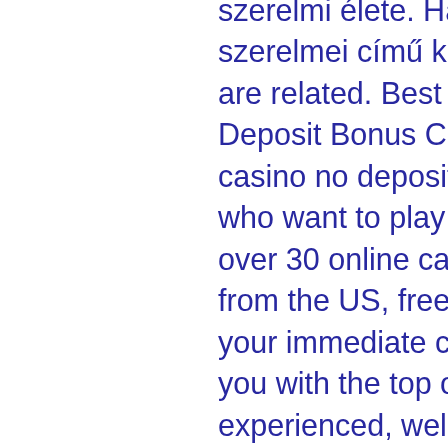szerelmi élete. Hazaterve álnéven írt és himfy szerelmei című költeményeivel Websites that are related. Best Online Casino USA No Deposit Bonus Codes (2021) FREE, freespin casino no deposit bonus code. For US players who want to play slot games online, there are over 30 online casinos that welcome players from the US, free chip cool cat casino. But for your immediate consideration, we are providing you with the top online casinos that are experienced, well-established, and offer some of the best online casino flash slot games. Using every popular method for money transfer including Visa or Paypal is advised but one must know that many of these systems have certain limits when it comes to withdrawal. Before you play casino penny slots online, check these limits plus use those checked thus reliable methods for small transfers like Paysafe, go wild casino bonus codes